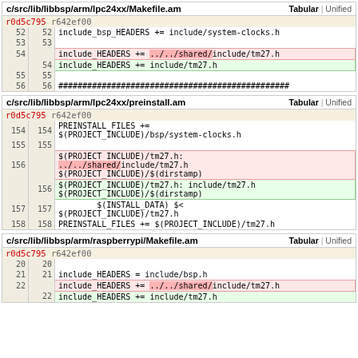c/src/lib/libbsp/arm/lpc24xx/Makefile.am
| r0d5c795 | r642ef00 | code |
| --- | --- | --- |
| 52 | 52 | include_bsp_HEADERS += include/system-clocks.h |
| 53 | 53 |  |
| 54 |  | include_HEADERS += ../../shared/include/tm27.h |
|  | 54 | include_HEADERS += include/tm27.h |
| 55 | 55 |  |
| 56 | 56 | ################################################## |
c/src/lib/libbsp/arm/lpc24xx/preinstall.am
| r0d5c795 | r642ef00 | code |
| --- | --- | --- |
| 154 | 154 | PREINSTALL_FILES += $(PROJECT_INCLUDE)/bsp/system-clocks.h |
| 155 | 155 |  |
| 156 |  | $(PROJECT_INCLUDE)/tm27.h: ../../shared/include/tm27.h $(PROJECT_INCLUDE)/$(dirstamp) |
|  | 156 | $(PROJECT_INCLUDE)/tm27.h: include/tm27.h $(PROJECT_INCLUDE)/$(dirstamp) |
| 157 | 157 | $(INSTALL_DATA) $< $(PROJECT_INCLUDE)/tm27.h |
| 158 | 158 | PREINSTALL_FILES += $(PROJECT_INCLUDE)/tm27.h |
c/src/lib/libbsp/arm/raspberrypi/Makefile.am
| r0d5c795 | r642ef00 | code |
| --- | --- | --- |
| 20 | 20 |  |
| 21 | 21 | include_HEADERS = include/bsp.h |
| 22 |  | include_HEADERS += ../../shared/include/tm27.h |
| 22 |  | include_HEADERS += include/tm27.h |